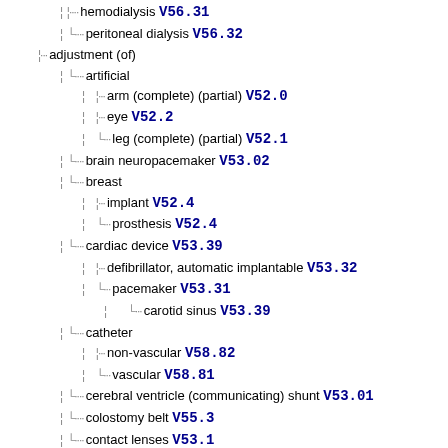hemodialysis V56.31
peritoneal dialysis V56.32
adjustment (of)
artificial
arm (complete) (partial) V52.0
eye V52.2
leg (complete) (partial) V52.1
brain neuropacemaker V53.02
breast
implant V52.4
prosthesis V52.4
cardiac device V53.39
defibrillator, automatic implantable V53.32
pacemaker V53.31
carotid sinus V53.39
catheter
non-vascular V58.82
vascular V58.81
cerebral ventricle (communicating) shunt V53.01
colostomy belt V55.3
contact lenses V53.1
cystostomy device V53.6
dental prosthesis V52.3